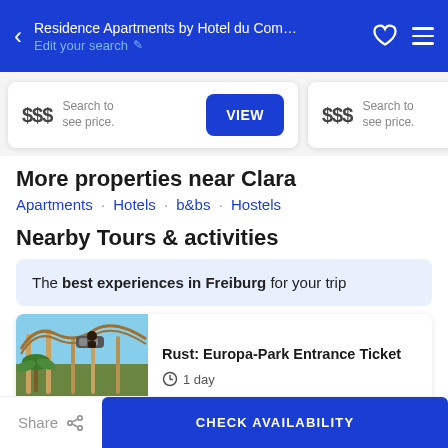Residence Apartments by Hotel du Commer... Edit your search
$$$ Search to see price. VIEW
$$$ Search to see price.
More properties near Clara
Apartments · Hotels · b&bs · Hostels
Nearby Tours & activities
The best experiences in Freiburg for your trip
[Figure (photo): Roller coaster at Europa-Park with palm trees and blue sky]
Rust: Europa-Park Entrance Ticket
⊙ 1 day
Share   CHECK AVAILABILITY